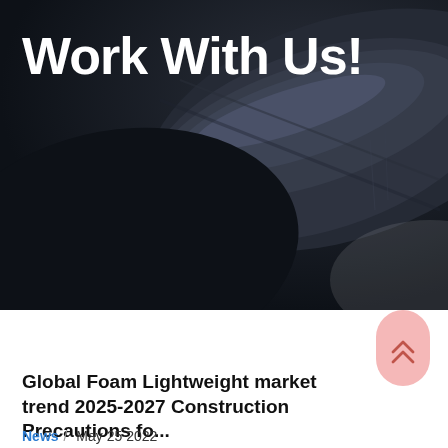[Figure (photo): Dark background hero image showing close-up of dark curved foam or rubber material in dramatic lighting]
Work With Us!
[Figure (illustration): Scroll down mouse icon with downward chevron arrow, white outline on dark background]
[Figure (illustration): Back to top button - pink/salmon rounded pill shape with double upward chevron arrows]
Global Foam Lightweight market trend 2025-2027 Construction Precautions fo...
News / May 25 2022